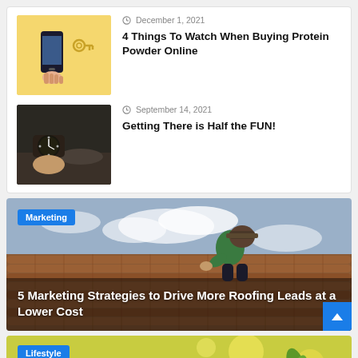[Figure (photo): Article thumbnail showing hand holding phone with yellow background]
December 1, 2021
4 Things To Watch When Buying Protein Powder Online
[Figure (photo): Article thumbnail showing a wrist watch on dark background]
September 14, 2021
Getting There is Half the FUN!
[Figure (photo): Featured image of roofer working on roof tiles with Marketing badge overlay and article title]
5 Marketing Strategies to Drive More Roofing Leads at a Lower Cost
[Figure (photo): Lifestyle category featured image with green plant and blurred background]